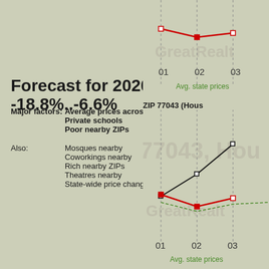Forecast for 2020: -18.8%..-6.6%
Major factors: Average prices across nearby ZIPs
Private schools
Poor nearby ZIPs
Also: Mosques nearby
Coworkings nearby
Rich nearby ZIPs
Theatres nearby
State-wide price change
[Figure (line-chart): Partial line chart showing price trends, clipped at right edge. X-axis labels: 01, 02, 03. Green label: Avg. state prices. Shows red line with square markers.]
ZIP 77043 (Hous
[Figure (line-chart): Line chart for ZIP 77043 Houston showing black line trending up and red line with square markers dipping then recovering. Green dashed line near bottom. X-axis: 01, 02, 03. Label: Avg. state prices.]
ZIP 77043 (Hous
[Figure (line-chart): Third partial line chart for ZIP 77043 Houston, clipped. Shows black line with square markers, partially visible.]